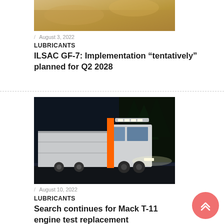[Figure (photo): Partial view of a sandy/desert terrain photo at the top of the page]
/ August 3, 2022
LUBRICANTS
ILSAC GF-7: Implementation “tentatively” planned for Q2 2028
[Figure (photo): A white semi-truck with orange cab trim and illuminated headlights driving at night on a dark road with trees in background]
/ August 10, 2022
LUBRICANTS
Search continues for Mack T-11 engine test replacement